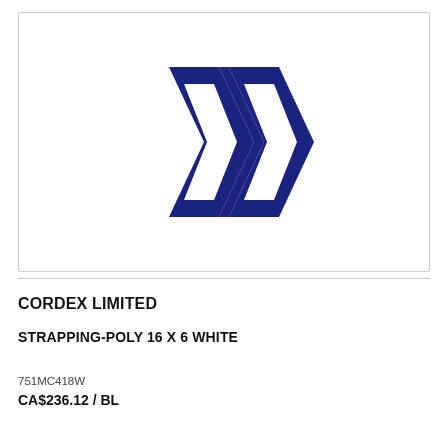[Figure (logo): Dark navy blue stylized W/double-chevron logo for Cordex Limited]
CORDEX LIMITED
STRAPPING-POLY 16 X 6 WHITE
751MC418W
CA$236.12 / BL